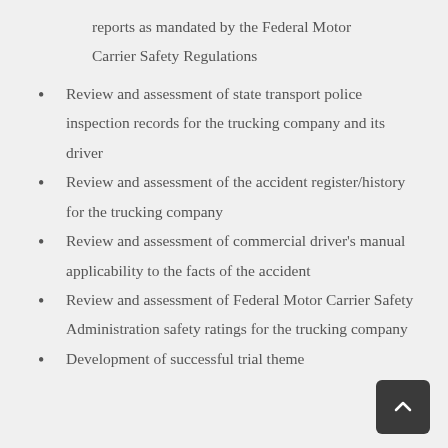reports as mandated by the Federal Motor Carrier Safety Regulations
Review and assessment of state transport police inspection records for the trucking company and its driver
Review and assessment of the accident register/history for the trucking company
Review and assessment of commercial driver's manual applicability to the facts of the accident
Review and assessment of Federal Motor Carrier Safety Administration safety ratings for the trucking company
Development of successful trial theme